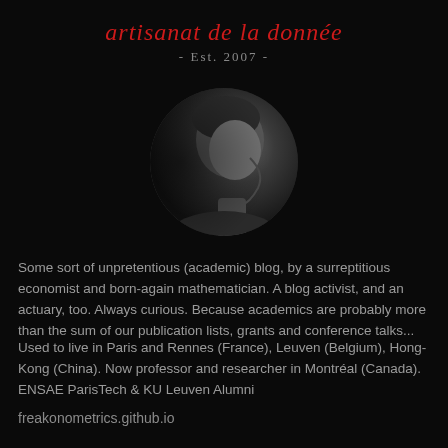artisanat de la donnée - Est. 2007 -
[Figure (photo): Black and white circular profile photo of a person shown in side profile, looking downward, dark background]
Some sort of unpretentious (academic) blog, by a surreptitious economist and born-again mathematician. A blog activist, and an actuary, too. Always curious. Because academics are probably more than the sum of our publication lists, grants and conference talks...
Used to live in Paris and Rennes (France), Leuven (Belgium), Hong-Kong (China). Now professor and researcher in Montréal (Canada). ENSAE ParisTech & KU Leuven Alumni
freakonometrics.github.io